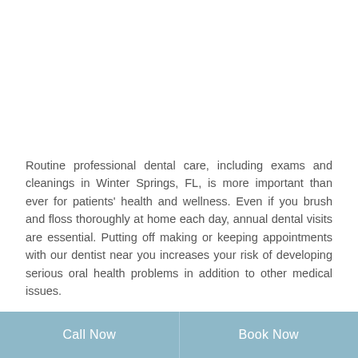Routine professional dental care, including exams and cleanings in Winter Springs, FL, is more important than ever for patients' health and wellness. Even if you brush and floss thoroughly at home each day, annual dental visits are essential. Putting off making or keeping appointments with our dentist near you increases your risk of developing serious oral health problems in addition to other medical issues.
If you have missed one or more dental appointments for preventive care, it's time to schedule one. Dr.
Call Now   Book Now